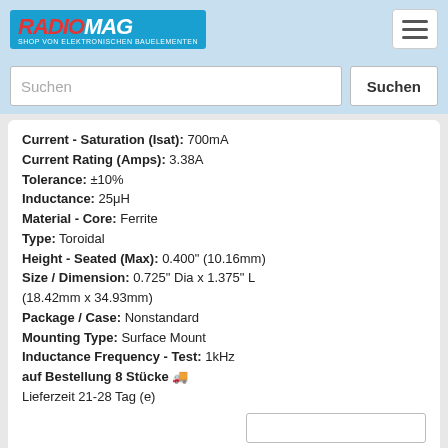[Figure (logo): RADIOMAG logo - shop for electronic components, with hamburger menu button]
[Figure (screenshot): Search bar with placeholder text Suchen and Suchen button]
Current - Saturation (Isat): 700mA Current Rating (Amps): 3.38A Tolerance: ±10% Inductance: 25μH Material - Core: Ferrite Type: Toroidal Height - Seated (Max): 0.400" (10.16mm) Size / Dimension: 0.725" Dia x 1.375" L (18.42mm x 34.93mm) Package / Case: Nonstandard Mounting Type: Surface Mount Inductance Frequency - Test: 1kHz auf Bestellung 8 Stücke 🚚 Lieferzeit 21-28 Tag (e)
PTKM50-40SM
Hersteller: API Delevan Inc. Description: FIXED IND 50UH 1.9A 110 MOHM SMD Frequency - Self Resonant: 12MHz